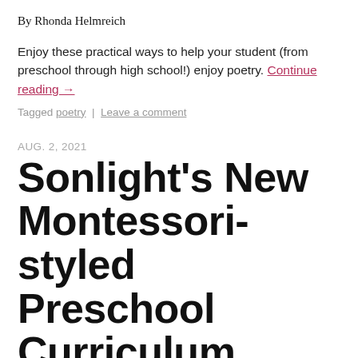By Rhonda Helmreich
Enjoy these practical ways to help your student (from preschool through high school!) enjoy poetry. Continue reading →
Tagged poetry | Leave a comment
AUG. 2, 2021
Sonlight's New Montessori-styled Preschool Curriculum